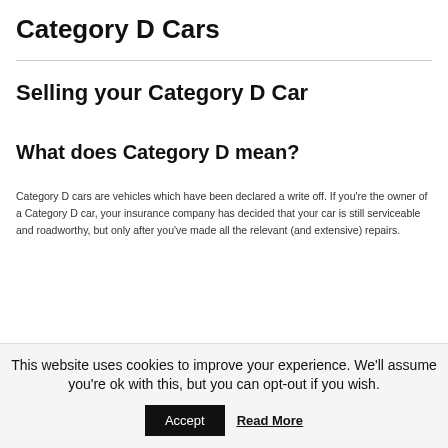Category D Cars
Selling your Category D Car
What does Category D mean?
Category D cars are vehicles which have been declared a write off. If you're the owner of a Category D car, your insurance company has decided that your car is still serviceable and roadworthy, but only after you've made all the relevant (and extensive) repairs.
This website uses cookies to improve your experience. We'll assume you're ok with this, but you can opt-out if you wish.